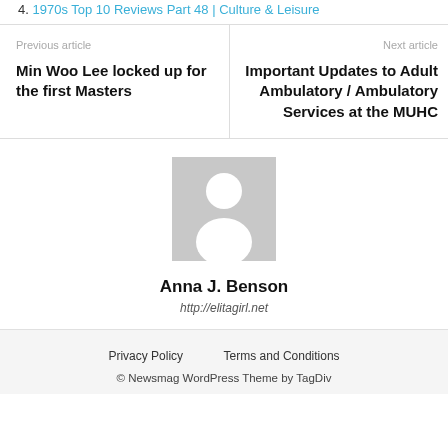4. 1970s Top 10 Reviews Part 48 | Culture & Leisure
Previous article
Min Woo Lee locked up for the first Masters
Next article
Important Updates to Adult Ambulatory / Ambulatory Services at the MUHC
[Figure (photo): Default avatar placeholder image — grey background with white silhouette of a person]
Anna J. Benson
http://elitagirl.net
Privacy Policy   Terms and Conditions   © Newsmag WordPress Theme by TagDiv